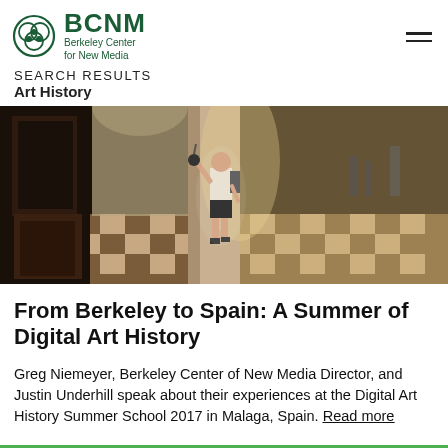BCNM Berkeley Center for New Media
SEARCH RESULTS
Art History
[Figure (photo): Person walking through a large ornate church interior with checkered marble floor, holding camera equipment, backlit by light from window]
From Berkeley to Spain: A Summer of Digital Art History
Greg Niemeyer, Berkeley Center of New Media Director, and Justin Underhill speak about their experiences at the Digital Art History Summer School 2017 in Malaga, Spain. Read more